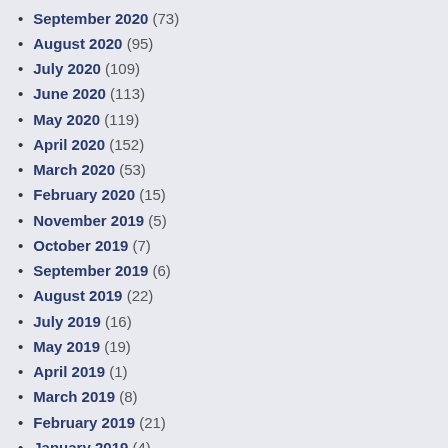September 2020 (73)
August 2020 (95)
July 2020 (109)
June 2020 (113)
May 2020 (119)
April 2020 (152)
March 2020 (53)
February 2020 (15)
November 2019 (5)
October 2019 (7)
September 2019 (6)
August 2019 (22)
July 2019 (16)
May 2019 (19)
April 2019 (1)
March 2019 (8)
February 2019 (21)
January 2019 (4)
December 2018 (8)
November 2018 (11)
October 2018 (2)
September 2018 (5)